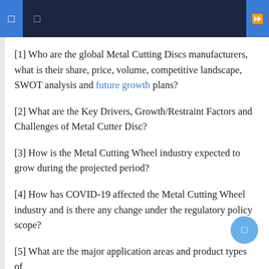navigation header with icons
[1] Who are the global Metal Cutting Discs manufacturers, what is their share, price, volume, competitive landscape, SWOT analysis and future growth plans?
[2] What are the Key Drivers, Growth/Restraint Factors and Challenges of Metal Cutter Disc?
[3] How is the Metal Cutting Wheel industry expected to grow during the projected period?
[4] How has COVID-19 affected the Metal Cutting Wheel industry and is there any change under the regulatory policy scope?
[5] What are the major application areas and product types of